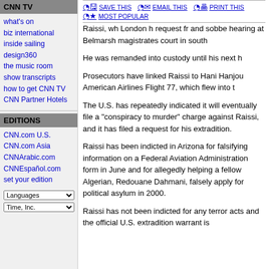CNN TV
what's on
biz international
inside sailing
design360
the music room
show transcripts
how to get CNN TV
CNN Partner Hotels
EDITIONS
CNN.com U.S.
CNN.com Asia
CNNArabic.com
CNNEspañol.com
set your edition
Raissi, wh London h request fr and sobbe hearing at Belmarsh magistrates court in south
He was remanded into custody until his next h
Prosecutors have linked Raissi to Hani Hanjou American Airlines Flight 77, which flew into t
The U.S. has repeatedly indicated it will eventually file a "conspiracy to murder" charge against Raissi, and it has filed a request for his extradition.
Raissi has been indicted in Arizona for falsifying information on a Federal Aviation Administration form in June and for allegedly helping a fellow Algerian, Redouane Dahmani, falsely apply for political asylum in 2000.
Raissi has not been indicted for any terror acts and the official U.S. extradition warrant is